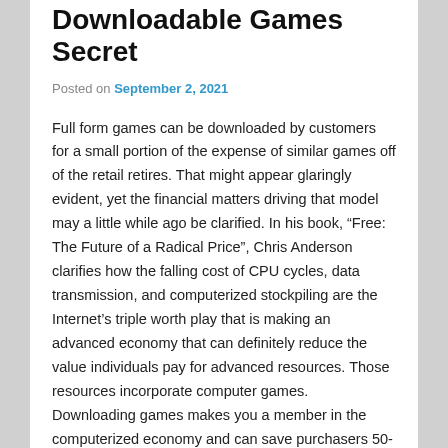Downloadable Games Secret
Posted on September 2, 2021
Full form games can be downloaded by customers for a small portion of the expense of similar games off of the retail retires. That might appear glaringly evident, yet the financial matters driving that model may a little while ago be clarified. In his book, “Free: The Future of a Radical Price”, Chris Anderson clarifies how the falling cost of CPU cycles, data transmission, and computerized stockpiling are the Internet’s triple worth play that is making an advanced economy that can definitely reduce the value individuals pay for advanced resources. Those resources incorporate computer games. Downloading games makes you a member in the computerized economy and can save purchasers 50-75% off of similar games found on retail location racks.
The proof of this value disintegration is displayed f95zone